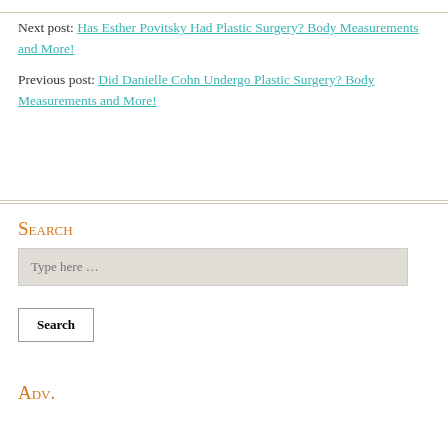Next post: Has Esther Povitsky Had Plastic Surgery? Body Measurements and More!
Previous post: Did Danielle Cohn Undergo Plastic Surgery? Body Measurements and More!
Search
Type here …
Search
Adv.